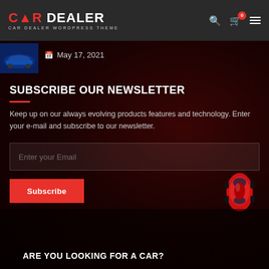CAR DEALER - CAR DEALER WORDPRESS THEME
[Figure (photo): Small thumbnail of a blue sports car]
May 17, 2021
SUBSCRIBE OUR NEWSLETTER
Keep up on our always evolving products features and technology. Enter your e-mail and subscribe to our newsletter.
Enter your Email
Subscribe
[Figure (photo): Red sports car viewed from above]
ARE YOU LOOKING FOR A CAR?